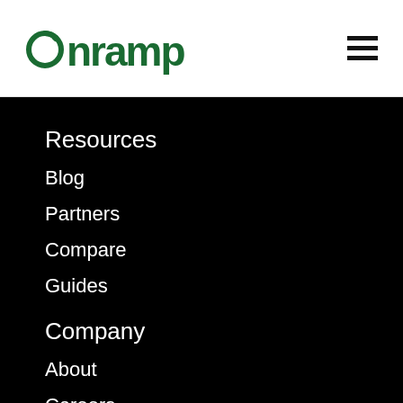[Figure (logo): Onramp logo in green with circular arrow icon preceding the text]
Resources
Blog
Partners
Compare
Guides
Company
About
Careers